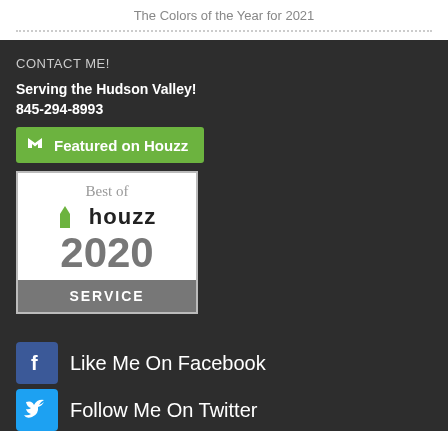The Colors of the Year for 2021
CONTACT ME!
Serving the Hudson Valley!
845-294-8993
[Figure (logo): Featured on Houzz green button badge]
[Figure (logo): Best of Houzz 2020 SERVICE badge]
Like Me On Facebook
Follow Me On Twitter